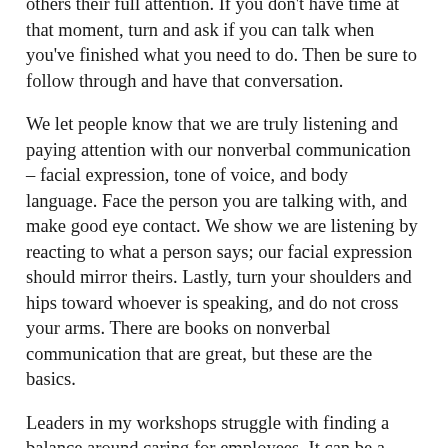others their full attention. If you don't have time at that moment, turn and ask if you can talk when you've finished what you need to do. Then be sure to follow through and have that conversation.
We let people know that we are truly listening and paying attention with our nonverbal communication – facial expression, tone of voice, and body language. Face the person you are talking with, and make good eye contact. We show we are listening by reacting to what a person says; our facial expression should mirror theirs. Lastly, turn your shoulders and hips toward whoever is speaking, and do not cross your arms. There are books on nonverbal communication that are great, but these are the basics.
Leaders in my workshops struggle with finding a balance around caring for employees. It can be a challenge. First, we must always have others' best